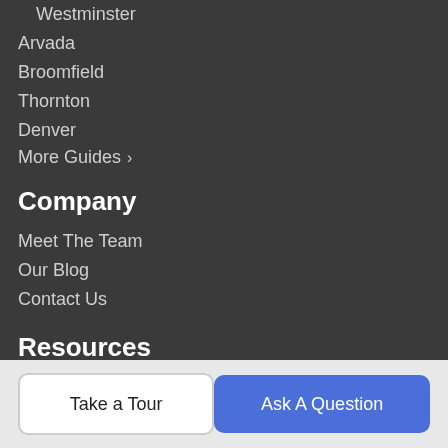Westminster
Arvada
Broomfield
Thornton
Denver
More Guides >
Company
Meet The Team
Our Blog
Contact Us
Resources
Buy a Home
Sell Your Home
Finance
Take a Tour
Ask A Question